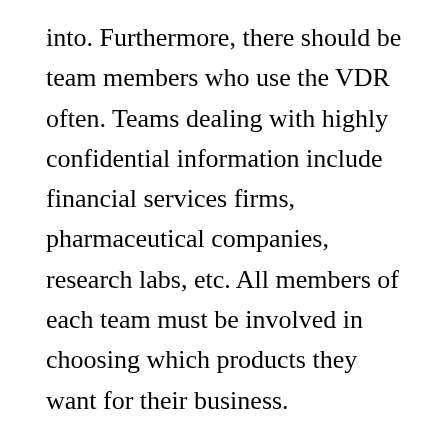into. Furthermore, there should be team members who use the VDR often. Teams dealing with highly confidential information include financial services firms, pharmaceutical companies, research labs, etc. All members of each team must be involved in choosing which products they want for their business.
Share
[Figure (other): Social media share icons: Facebook (blue), Twitter (light blue), LinkedIn (dark blue), Instagram (gradient pink/purple)]